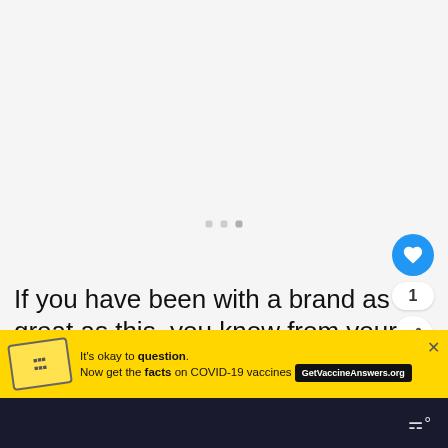[Figure (screenshot): Loading placeholder area with three small gray square dots in the center on a light gray background]
[Figure (infographic): Blue circular like/heart button, like count '1', and white circular share button on right side]
[Figure (infographic): What's Next panel with thumbnail of a sneaker and text 'WHAT'S NEXT → What is the Loop on the...']
If you have been with a brand as great as this, you know from your the product b...?
[Figure (infographic): Yellow COVID-19 vaccine advertisement banner with stamp graphic, text 'It's okay to question. Now get the facts on COVID-19 vaccines', GetVaccineAnswers.org button, and X close button]